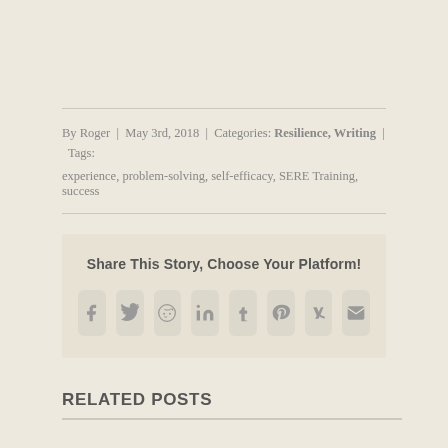By Roger | May 3rd, 2018 | Categories: Resilience, Writing | Tags: experience, problem-solving, self-efficacy, SERE Training, success
[Figure (infographic): Share This Story, Choose Your Platform! with social media icons: Facebook, Twitter, Reddit, LinkedIn, Tumblr, Pinterest, VK, Email]
RELATED POSTS